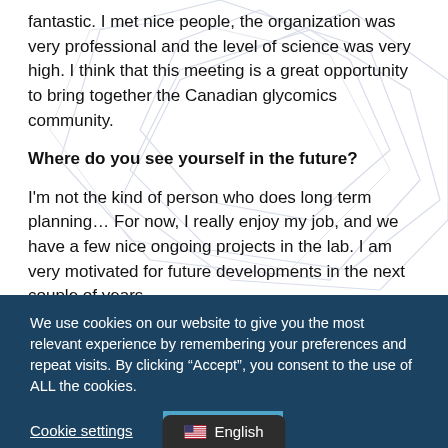fantastic. I met nice people, the organization was very professional and the level of science was very high. I think that this meeting is a great opportunity to bring together the Canadian glycomics community.
Where do you see yourself in the future?
I'm not the kind of person who does long term planning… For now, I really enjoy my job, and we have a few nice ongoing projects in the lab. I am very motivated for future developments in the next couple of years.
We use cookies on our website to give you the most relevant experience by remembering your preferences and repeat visits. By clicking “Accept”, you consent to the use of ALL the cookies.
Cookie settings
ACCEPT
English